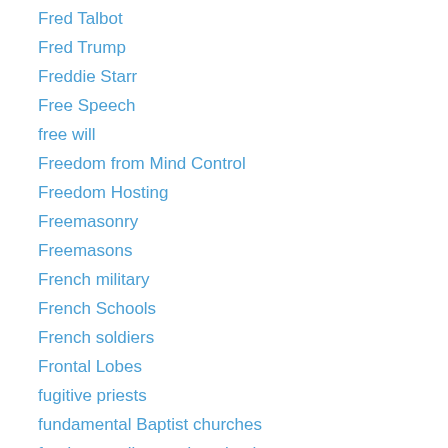Fred Talbot
Fred Trump
Freddie Starr
Free Speech
free will
Freedom from Mind Control
Freedom Hosting
Freemasonry
Freemasons
French military
French Schools
French soldiers
Frontal Lobes
fugitive priests
fundamental Baptist churches
fundamentalism and patriarchy
Fundamentalist church of Jesus Christ of Latter Day Saints
Fundamentalist Church of Jesus Christ of Latter-day Saints
Fundamentalist Church of Jesus Christ of Latter-Day Saints President
Warren Jeffs